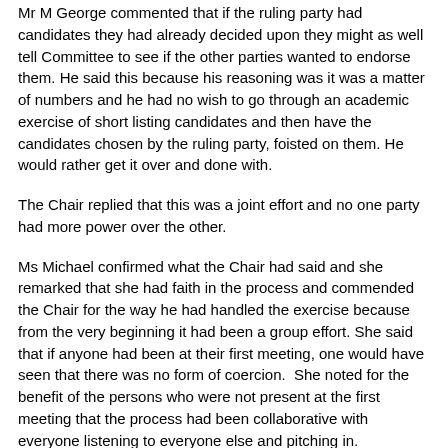Mr M George commented that if the ruling party had candidates they had already decided upon they might as well tell Committee to see if the other parties wanted to endorse them. He said this because his reasoning was it was a matter of numbers and he had no wish to go through an academic exercise of short listing candidates and then have the candidates chosen by the ruling party, foisted on them. He would rather get it over and done with.
The Chair replied that this was a joint effort and no one party had more power over the other.
Ms Michael confirmed what the Chair had said and she remarked that she had faith in the process and commended the Chair for the way he had handled the exercise because from the very beginning it had been a group effort. She said that if anyone had been at their first meeting, one would have seen that there was no form of coercion.  She noted for the benefit of the persons who were not present at the first meeting that the process had been collaborative with everyone listening to everyone else and pitching in.
Mr S Ntapane (UDM) suggested that each party make its own shortlist and present it and then they would choose the candidates from the proposed nominees.